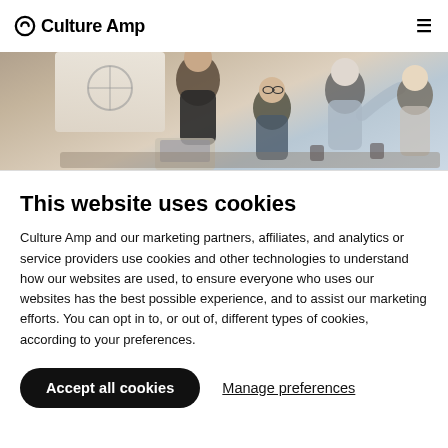Culture Amp
[Figure (photo): Business meeting scene showing professionals around a table with a presenter in front of a screen/whiteboard. Multiple people in business attire engaged in discussion.]
This website uses cookies
Culture Amp and our marketing partners, affiliates, and analytics or service providers use cookies and other technologies to understand how our websites are used, to ensure everyone who uses our websites has the best possible experience, and to assist our marketing efforts. You can opt in to, or out of, different types of cookies, according to your preferences.
Accept all cookies
Manage preferences